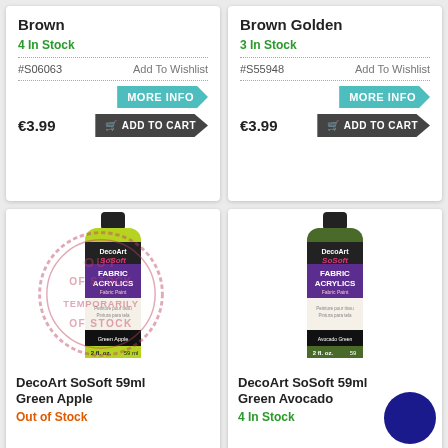Brown
4 In Stock
#S06063  Add To Wishlist
MORE INFO
€3.99  ADD TO CART
Brown Golden
3 In Stock
#S55948  Add To Wishlist
MORE INFO
€3.99  ADD TO CART
[Figure (photo): DecoArt SoSoft 59ml Green Apple fabric acrylic paint bottle in yellow-green color with 'Out of Stock Temporarily' stamp overlay]
DecoArt SoSoft 59ml Green Apple
Out of Stock
[Figure (photo): DecoArt SoSoft 59ml Green Avocado fabric acrylic paint bottle in dark olive green color with a dark blue circular color swatch]
DecoArt SoSoft 59ml Green Avocado
4 In Stock